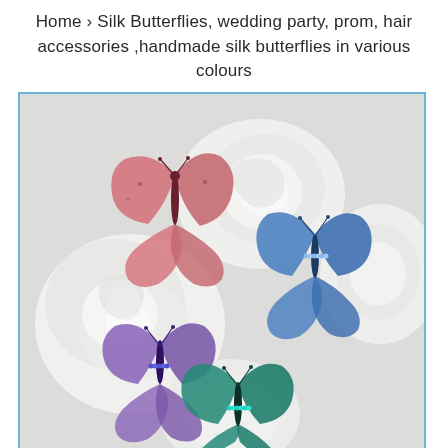Home › Silk Butterflies, wedding party, prom, hair accessories ,handmade silk butterflies in various colours
[Figure (photo): Photo of four handmade silk butterflies in pink/coral, blue, purple, and teal/green colors, arranged on white roses. Each butterfly has decorative beaded bodies.]